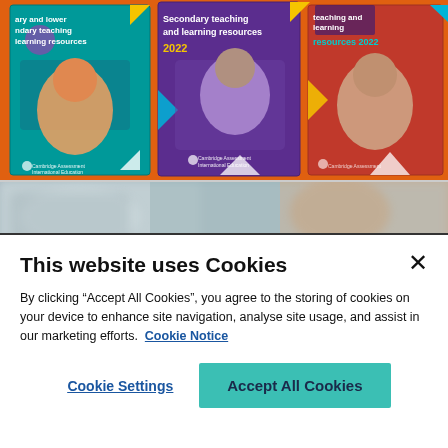[Figure (photo): Cambridge Assessment International Education teaching and learning resources 2022 book covers displayed against an orange background. Three book covers visible: primary/secondary teaching resources (teal/purple cover with child), secondary teaching and learning resources 2022 (purple cover with student in lab), and a red cover with a smiling student.]
[Figure (photo): Blurred background image showing a classroom or educational setting with soft blue and grey tones.]
This website uses Cookies
By clicking “Accept All Cookies”, you agree to the storing of cookies on your device to enhance site navigation, analyse site usage, and assist in our marketing efforts.  Cookie Notice
Cookie Settings
Accept All Cookies